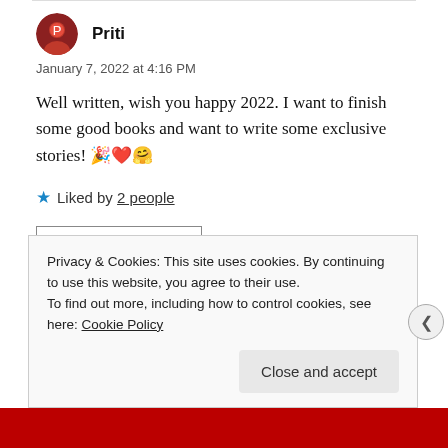Priti
January 7, 2022 at 4:16 PM
Well written, wish you happy 2022. I want to finish some good books and want to write some exclusive stories! 🎉❤️🤗
★ Liked by 2 people
LOG IN TO REPLY
Privacy & Cookies: This site uses cookies. By continuing to use this website, you agree to their use.
To find out more, including how to control cookies, see here: Cookie Policy
Close and accept